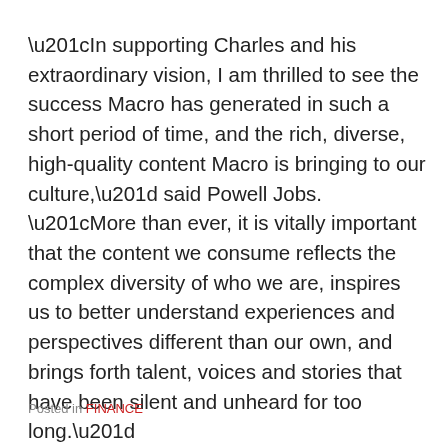“In supporting Charles and his extraordinary vision, I am thrilled to see the success Macro has generated in such a short period of time, and the rich, diverse, high-quality content Macro is bringing to our culture,” said Powell Jobs. “More than ever, it is vitally important that the content we consume reflects the complex diversity of who we are, inspires us to better understand experiences and perspectives different than our own, and brings forth talent, voices and stories that have been silent and unheard for too long.”
Posted in FINANCE